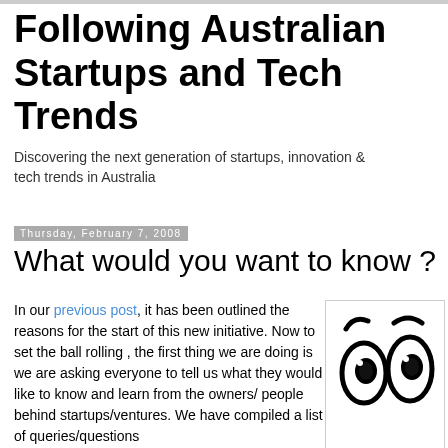Following Australian Startups and Tech Trends
Discovering the next generation of startups, innovation & tech trends in Australia
Thursday, February 7, 2008
What would you want to know ?
In our previous post, it has been outlined the reasons for the start of this new initiative. Now to set the ball rolling , the first thing we are doing is we are asking everyone to tell us what they would like to know and learn from the owners/ people behind startups/ventures. We have compiled a list of queries/questions
[Figure (illustration): Hand-drawn cartoon illustration of two wide eyes looking forward, drawn in black ink on white background]